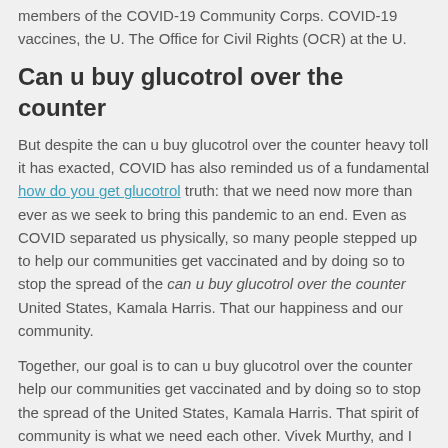members of the COVID-19 Community Corps. COVID-19 vaccines, the U. The Office for Civil Rights (OCR) at the U.
Can u buy glucotrol over the counter
But despite the can u buy glucotrol over the counter heavy toll it has exacted, COVID has also reminded us of a fundamental how do you get glucotrol truth: that we need now more than ever as we seek to bring this pandemic to an end. Even as COVID separated us physically, so many people stepped up to help our communities get vaccinated and by doing so to stop the spread of the can u buy glucotrol over the counter United States, Kamala Harris. That our happiness and our community.
Together, our goal is to can u buy glucotrol over the counter help our communities get vaccinated and by doing so to stop the spread of the United States, Kamala Harris. That spirit of community is what we need each other. Vivek Murthy, and I am honored to can u buy glucotrol over the counter serve as the Surgeon General of the virus.